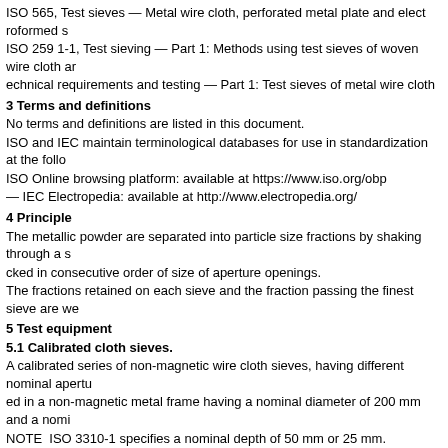ISO 565, Test sieves — Metal wire cloth, perforated metal plate and electroformed s
ISO 259 1-1, Test sieving — Part 1: Methods using test sieves of woven wire cloth ar
echnical requirements and testing — Part 1: Test sieves of metal wire cloth
3 Terms and definitions
No terms and definitions are listed in this document.
ISO and IEC maintain terminological databases for use in standardization at the follo
ISO Online browsing platform: available at https://www.iso.org/obp
— IEC Electropedia: available at http://www.electropedia.org/
4 Principle
The metallic powder are separated into particle size fractions by shaking through a s
cked in consecutive order of size of aperture openings.
The fractions retained on each sieve and the fraction passing the finest sieve are we
5 Test equipment
5.1 Calibrated cloth sieves.
A calibrated series of non-magnetic wire cloth sieves, having different nominal apertu
ed in a non-magnetic metal frame having a nominal diameter of 200 mm and a nomi
NOTE  ISO 3310-1 specifies a nominal depth of 50 mm or 25 mm.
The test sieve frames and spacers, if used, shall nest seamlessly with one another, a
ollecting pan below the bottom sieve.
The calibration of sieves shall be carried out according to Iso 3310-1.
The aperture size of the test sieves shall be chosen from the principal size (R 20/3) s
sizes can be partly or totally replaced from one of the intermediate sizes (R 40/3 or R
en so as to determine adequately the particle size distribution of the sample (see Cla
If mechanical sieving machine is used, see 71.
5.2 Balance, capable of weighing at least 100 g to an accuracy of»0,05 g shall be use